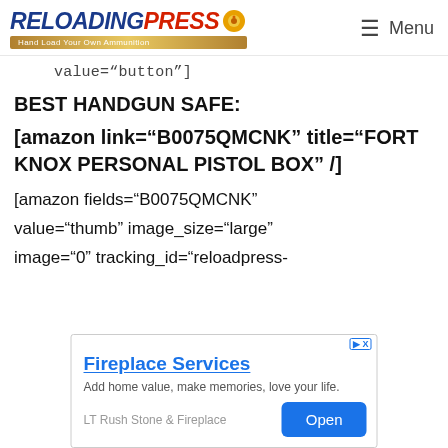ReloadingPress — Hand Load Your Own Ammunition | Menu
value="button"]
BEST HANDGUN SAFE:
[amazon link="B0075QMCNK" title="FORT KNOX PERSONAL PISTOL BOX" /]
[amazon fields="B0075QMCNK" value="thumb" image_size="large" image="0" tracking_id="reloadpress-
[Figure (other): Advertisement banner for Fireplace Services by LT Rush Stone & Fireplace with Open button]